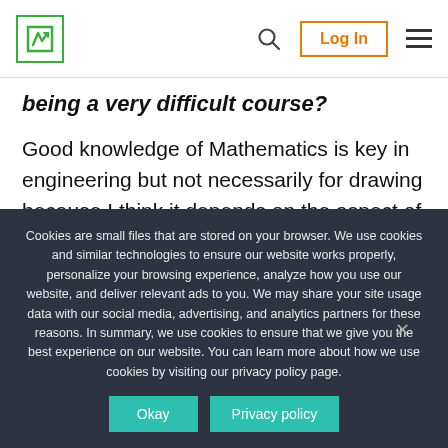Logo | Search | Log In | Menu
being a very difficult course?
Good knowledge of Mathematics is key in engineering but not necessarily for drawing because I think it depends on the aspect of engineering one wants to go into. Personally, I don't think the notion that engineering
Cookies are small files that are stored on your browser. We use cookies and similar technologies to ensure our website works properly, personalize your browsing experience, analyze how you use our website, and deliver relevant ads to you. We may share your site usage data with our social media, advertising, and analytics partners for these reasons. In summary, we use cookies to ensure that we give you the best experience on our website. You can learn more about how we use cookies by visiting our privacy policy page.